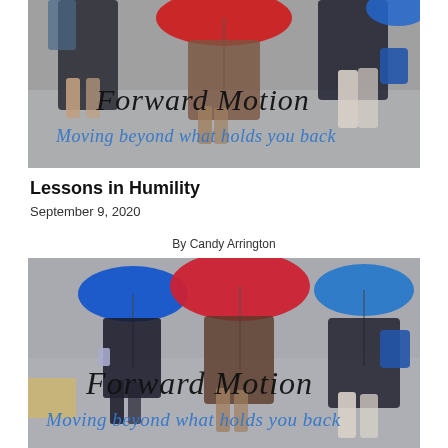[Figure (photo): Top banner: motion-blurred photo of three people walking with colorful umbrellas (red, blue) with 'Forward Motion / Moving beyond what holds you back' text overlay]
Lessons in Humility
September 9, 2020
By Candy Arrington
[Figure (photo): Bottom article image: motion-blurred photo of three people walking with colorful umbrellas (two blue, one red) with 'Forward Motion / Moving beyond what holds you back' text overlay at bottom]